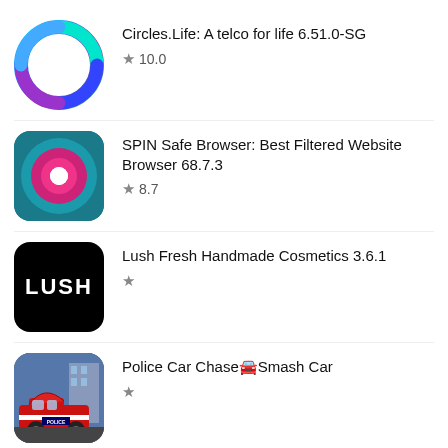Circles.Life: A telco for life 6.51.0-SG ★ 10.0
SPIN Safe Browser: Best Filtered Website Browser 68.7.3 ★ 8.7
Lush Fresh Handmade Cosmetics 3.6.1 ★
Police Car Chase🚘Smash Car ★
Body FX Home Fitness ★